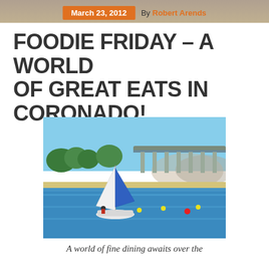March 23, 2012  By Robert Arends
FOODIE FRIDAY – A WORLD OF GREAT EATS IN CORONADO!
[Figure (photo): Sailboat with blue and white sail on blue water bay, with the Coronado Bridge visible in the background, trees and sandy shore visible]
A world of fine dining awaits over the